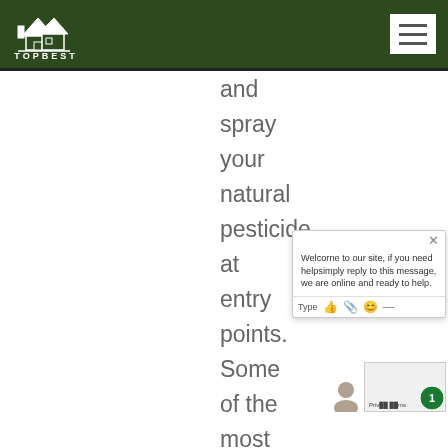TOPBEST
and spray your natural pesticide at entry points. Some of the most common entry
[Figure (screenshot): Chat widget with message: Welcome to our site, if you need helpsimply reply to this message, we are online and ready to help. With Type input field and icons.]
[Figure (screenshot): Avatar icon and reCAPTCHA privacy/terms badge with green circle notification badge showing 1]